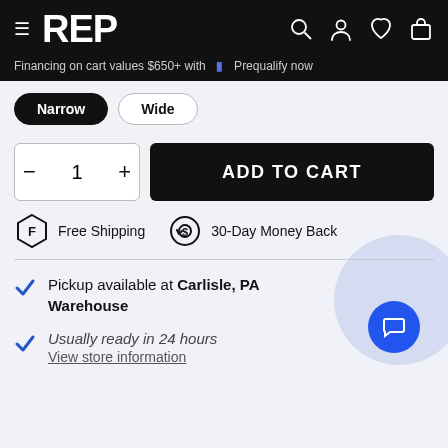REP — Financing on cart values $650+ with Prequalify now
Narrow | Wide
1  ADD TO CART
Free Shipping   30-Day Money Back
Pickup available at Carlisle, PA Warehouse
Usually ready in 24 hours
View store information